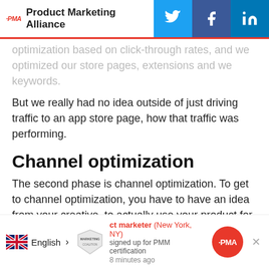Product Marketing Alliance
optimization based on click-through rates, and we optimized our store pages, extensions and we keywords.
But we really had no idea outside of just driving traffic to an app store page, how that traffic was performing.
Channel optimization
The second phase is channel optimization. To get to channel optimization, you have to have an idea from your creative, to actually use your product for me, there's an app store page in between.
You have to have an idea of how well your creatives
English > ct marketer (New York, NY) signed up for PMM certification 8 minutes ago